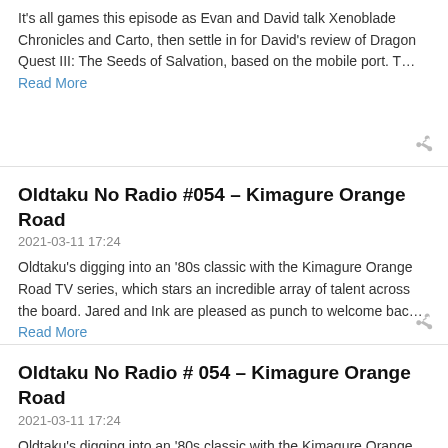It's all games this episode as Evan and David talk Xenoblade Chronicles and Carto, then settle in for David's review of Dragon Quest III: The Seeds of Salvation, based on the mobile port. T… Read More
Oldtaku No Radio #054 – Kimagure Orange Road
2021-03-11 17:24
Oldtaku's digging into an '80s classic with the Kimagure Orange Road TV series, which stars an incredible array of talent across the board. Jared and Ink are pleased as punch to welcome bac… Read More
Oldtaku No Radio # 054 – Kimagure Orange Road
2021-03-11 17:24
Oldtaku's digging into an '80s classic with the Kimagure Orange Road TV series, which stars an incredible array of talent across the board. Jared and Ink are pleased as punch to welcome bac… Read More